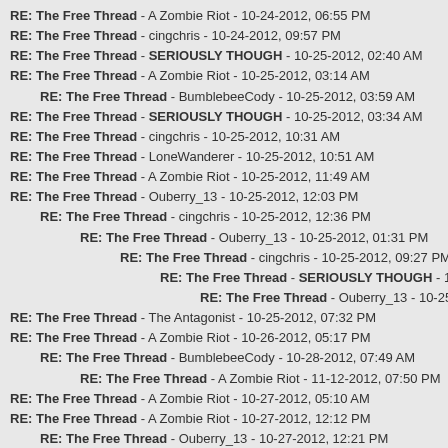RE: The Free Thread - A Zombie Riot - 10-24-2012, 06:55 PM
RE: The Free Thread - cingchris - 10-24-2012, 09:57 PM
RE: The Free Thread - SERIOUSLY THOUGH - 10-25-2012, 02:40 AM
RE: The Free Thread - A Zombie Riot - 10-25-2012, 03:14 AM
RE: The Free Thread - BumblebeeCody - 10-25-2012, 03:59 AM
RE: The Free Thread - SERIOUSLY THOUGH - 10-25-2012, 03:34 AM
RE: The Free Thread - cingchris - 10-25-2012, 10:31 AM
RE: The Free Thread - LoneWanderer - 10-25-2012, 10:51 AM
RE: The Free Thread - A Zombie Riot - 10-25-2012, 11:49 AM
RE: The Free Thread - Ouberry_13 - 10-25-2012, 12:03 PM
RE: The Free Thread - cingchris - 10-25-2012, 12:36 PM
RE: The Free Thread - Ouberry_13 - 10-25-2012, 01:31 PM
RE: The Free Thread - cingchris - 10-25-2012, 09:27 PM
RE: The Free Thread - SERIOUSLY THOUGH - 10-25-2012, 10:17 PM
RE: The Free Thread - Ouberry_13 - 10-25-2012, 11:21 PM
RE: The Free Thread - The Antagonist - 10-25-2012, 07:32 PM
RE: The Free Thread - A Zombie Riot - 10-26-2012, 05:17 PM
RE: The Free Thread - BumblebeeCody - 10-28-2012, 07:49 AM
RE: The Free Thread - A Zombie Riot - 11-12-2012, 07:50 PM
RE: The Free Thread - A Zombie Riot - 10-27-2012, 05:10 AM
RE: The Free Thread - A Zombie Riot - 10-27-2012, 12:12 PM
RE: The Free Thread - Ouberry_13 - 10-27-2012, 12:21 PM
RE: The Free Thread - SERIOUSLY THOUGH - 10-27-2012, 12:36 PM
RE: The Free Thread - A Zombie Riot - 10-27-2012, 12:34 PM
RE: The Free Thread - A Zombie Riot - 10-27-2012, 12:41 PM